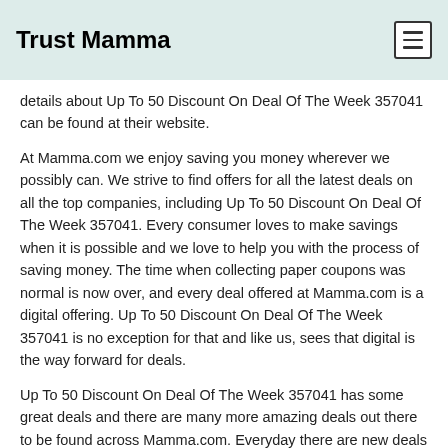Trust Mamma
details about Up To 50 Discount On Deal Of The Week 357041 can be found at their website.
At Mamma.com we enjoy saving you money wherever we possibly can. We strive to find offers for all the latest deals on all the top companies, including Up To 50 Discount On Deal Of The Week 357041. Every consumer loves to make savings when it is possible and we love to help you with the process of saving money. The time when collecting paper coupons was normal is now over, and every deal offered at Mamma.com is a digital offering. Up To 50 Discount On Deal Of The Week 357041 is no exception for that and like us, sees that digital is the way forward for deals.
Up To 50 Discount On Deal Of The Week 357041 has some great deals and there are many more amazing deals out there to be found across Mamma.com. Everyday there are new deals & codes available online to be found. Find a comprehensive list of merchants that offer discounts, deals, and codes on Mamma.com.